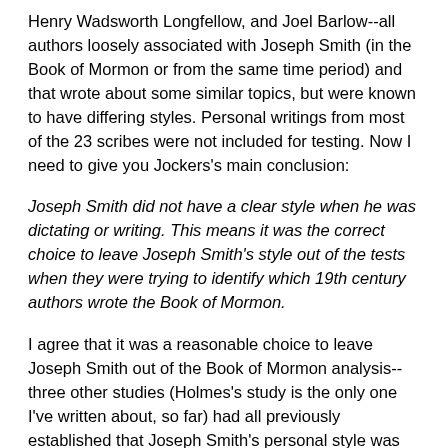Henry Wadsworth Longfellow, and Joel Barlow--all authors loosely associated with Joseph Smith (in the Book of Mormon or from the same time period) and that wrote about some similar topics, but were known to have differing styles. Personal writings from most of the 23 scribes were not included for testing. Now I need to give you Jockers's main conclusion:
Joseph Smith did not have a clear style when he was dictating or writing. This means it was the correct choice to leave Joseph Smith's style out of the tests when they were trying to identify which 19th century authors wrote the Book of Mormon.
I agree that it was a reasonable choice to leave Joseph Smith out of the Book of Mormon analysis--three other studies (Holmes's study is the only one I've written about, so far) had all previously established that Joseph Smith's personal style was measurably different from any of the styles in the Book of Mormon. Those studies would all claim there is no point in including Joseph Smith in Book of Mormon authorship studies because he had a measurably